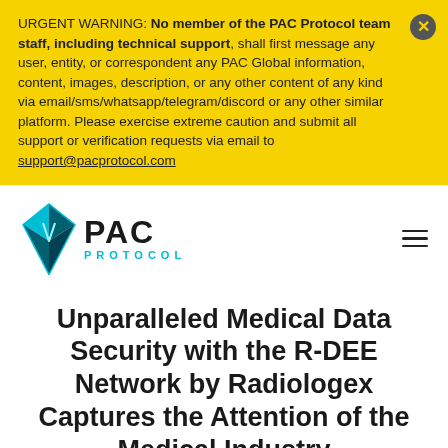URGENT WARNING: No member of the PAC Protocol team staff, including technical support, shall first message any user, entity, or correspondent any PAC Global information, content, images, description, or any other content of any kind via email/sms/whatsapp/telegram/discord or any other similar platform. Please exercise extreme caution and submit all support or verification requests via email to support@pacprotocol.com
[Figure (logo): PAC Protocol logo with cyan diamond shape and bold PAC text with PROTOCOL subtitle]
Unparalleled Medical Data Security with the R-DEE Network by Radiologex Captures the Attention of the Medical Industry